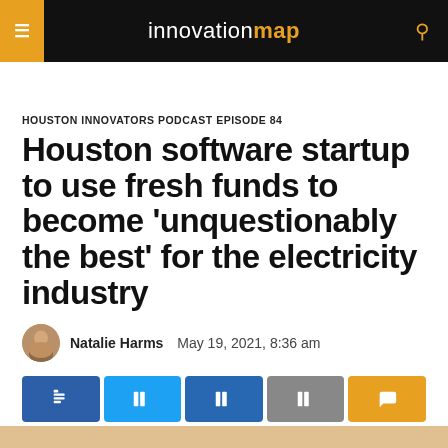innovationmap
HOUSTON INNOVATORS PODCAST EPISODE 84
Houston software startup to use fresh funds to become 'unquestionably the best' for the electricity industry
Natalie Harms   May 19, 2021, 8:36 am